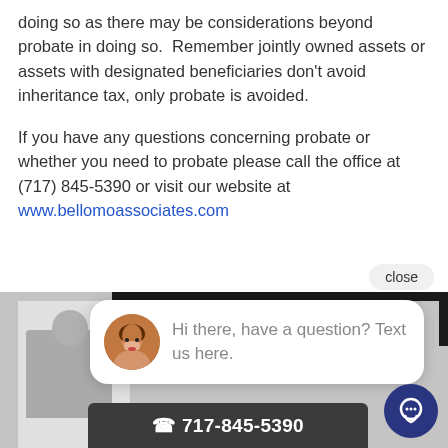doing so as there may be considerations beyond probate in doing so.  Remember jointly owned assets or assets with designated beneficiaries don't avoid inheritance tax, only probate is avoided.
If you have any questions concerning probate or whether you need to probate please call the office at (717) 845-5390 or visit our website at www.bellomoassociates.com
[Figure (screenshot): Chat widget overlay showing a photo of a woman, message 'Hi there, have a question? Text us here.', a phone bar with '717-845-5390', a close button, and a chat FAB button in dark blue.]